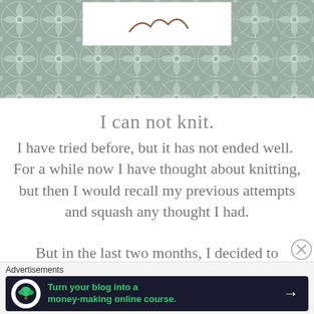[Figure (illustration): Decorative sage green tiled pattern header with snowflake and leaf motifs, with a white content card inset at top]
I can not knit.
I have tried before, but it has not ended well.  For a while now I have thought about knitting, but then I would recall my previous attempts and squash any thought I had.
(partial bottom text, cut off)
[Figure (screenshot): Advertisements bar with dark navy ad banner: 'Turn your blog into a money-making online course.' with arrow]